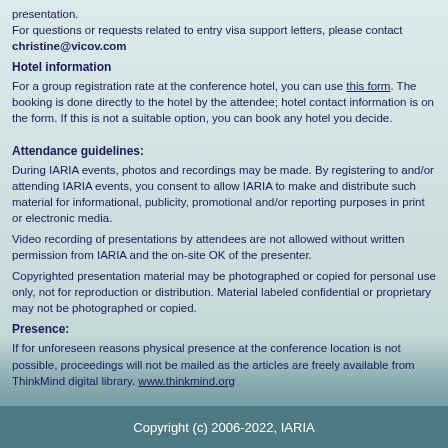presentation.
For questions or requests related to entry visa support letters, please contact christine@vicov.com
Hotel information
For a group registration rate at the conference hotel, you can use this form. The booking is done directly to the hotel by the attendee; hotel contact information is on the form. If this is not a suitable option, you can book any hotel you decide.
Attendance guidelines:
During IARIA events, photos and recordings may be made. By registering to and/or attending IARIA events, you consent to allow IARIA to make and distribute such material for informational, publicity, promotional and/or reporting purposes in print or electronic media.
Video recording of presentations by attendees are not allowed without written permission from IARIA and the on-site OK of the presenter.
Copyrighted presentation material may be photographed or copied for personal use only, not for reproduction or distribution. Material labeled confidential or proprietary may not be photographed or copied.
Presence:
If for unforeseen reasons physical presence at the conference location is not possible, proceedings will not be mailed as the articles are freely available from ThinkMind digital library. www.thinkmind.org
Copyright (c) 2006-2022, IARIA